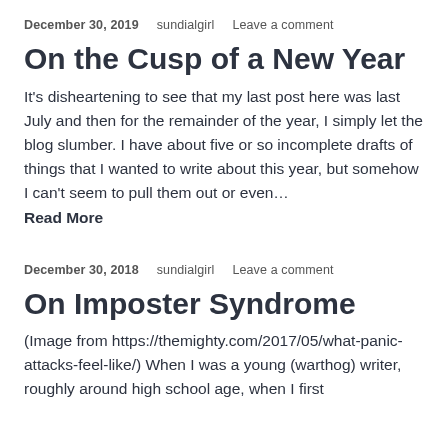December 30, 2019   sundialgirl   Leave a comment
On the Cusp of a New Year
It's disheartening to see that my last post here was last July and then for the remainder of the year, I simply let the blog slumber. I have about five or so incomplete drafts of things that I wanted to write about this year, but somehow I can't seem to pull them out or even…
Read More
December 30, 2018   sundialgirl   Leave a comment
On Imposter Syndrome
(Image from https://themighty.com/2017/05/what-panic-attacks-feel-like/) When I was a young (warthog) writer, roughly around high school age, when I first